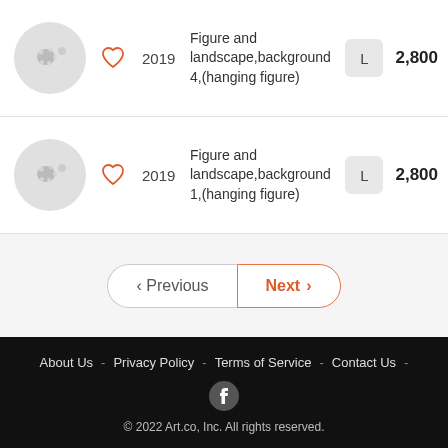2019 — Figure and landscape,background 4,(hanging figure) — L — 2,800
2019 — Figure and landscape,background 1,(hanging figure) — L — 2,800
< Previous   Next >
About Us - Privacy Policy - Terms of Service - Contact Us - © 2022 Art.co, Inc. All rights reserved.